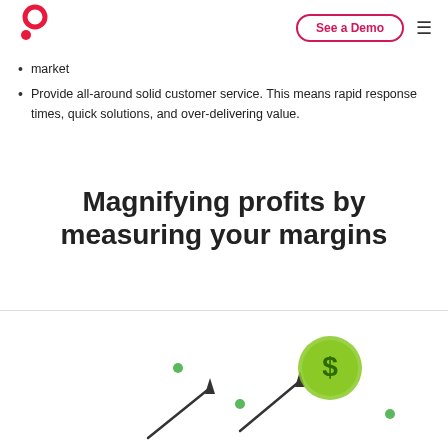See a Demo
market
Provide all-around solid customer service. This means rapid response times, quick solutions, and over-delivering value.
Magnifying profits by measuring your margins
[Figure (illustration): Illustration showing a dollar coin with upward arrow and green dots suggesting profit growth]